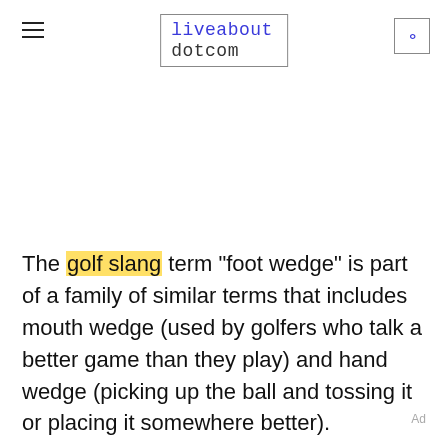liveabout dotcom
The golf slang term "foot wedge" is part of a family of similar terms that includes mouth wedge (used by golfers who talk a better game than they play) and hand wedge (picking up the ball and tossing it or placing it somewhere better).
Ad